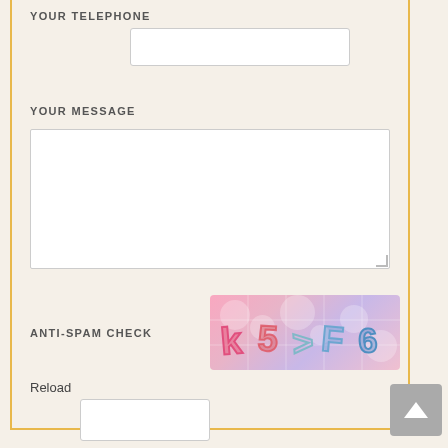YOUR TELEPHONE
[Figure (screenshot): Empty telephone input field]
YOUR MESSAGE
[Figure (screenshot): Large empty message textarea]
ANTI-SPAM CHECK
[Figure (other): CAPTCHA image showing colorful distorted text 'k5>F6' on pink/purple mosaic background]
Reload
[Figure (screenshot): Empty CAPTCHA input field]
SEND